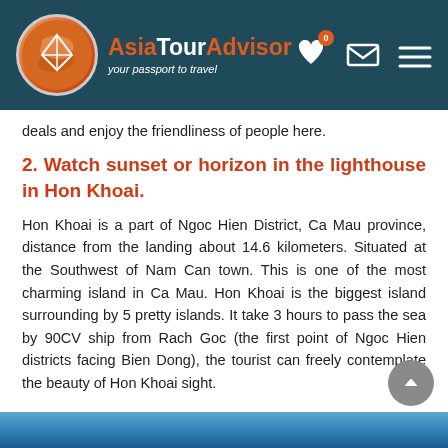AsiaTourAdvisor — your passport to travel
deals and enjoy the friendliness of people here.
2. Watch sunset or horizon in the lighthouse in Hon Khoai.
Hon Khoai is a part of Ngoc Hien District, Ca Mau province, distance from the landing about 14.6 kilometers. Situated at the Southwest of Nam Can town. This is one of the most charming island in Ca Mau. Hon Khoai is the biggest island surrounding by 5 pretty islands. It take 3 hours to pass the sea by 90CV ship from Rach Goc (the first point of Ngoc Hien districts facing Bien Dong), the tourist can freely contemplate the beauty of Hon Khoai sight.
[Figure (photo): Blue ocean/sky photograph at the bottom of the page]